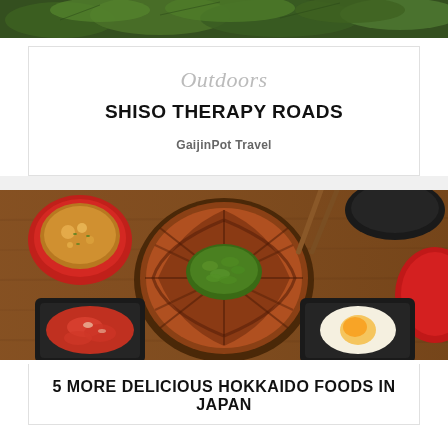[Figure (photo): Green leafy plants/herbs photographed from above, partial view at top of page]
Outdoors
SHISO THERAPY ROADS
GaijinPot Travel
[Figure (photo): Overhead view of a Japanese meal: a large bowl of glazed pork/chicken rice topped with green onions, accompanied by miso soup in a red bowl, kimchi in a black dish, and a soft-boiled egg in a black dish, all on a wooden table with chopsticks]
5 MORE DELICIOUS HOKKAIDO FOODS IN JAPAN